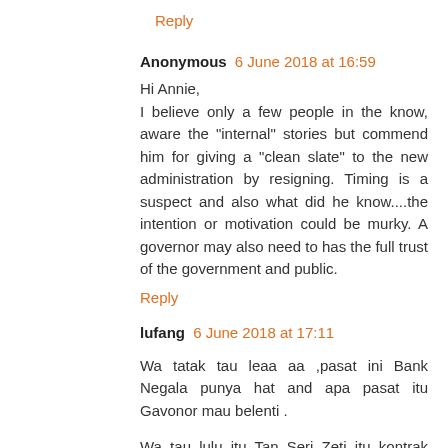Reply
Anonymous 6 June 2018 at 16:59
Hi Annie,
I believe only a few people in the know, aware the "internal" stories but commend him for giving a "clean slate" to the new administration by resigning. Timing is a suspect and also what did he know....the intention or motivation could be murky. A governor may also need to has the full trust of the government and public.
Reply
lufang 6 June 2018 at 17:11
Wa tatak tau leaa aa ,pasat ini Bank Negala punya hat and apa pasat itu Gavonor mau belenti .
Wa tau lulu itu Tan Seri Zeti itu kontrak tatak sambung .